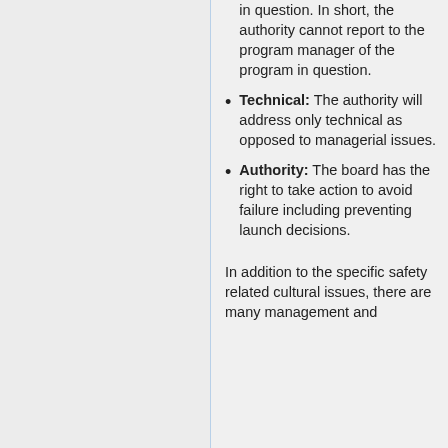in question. In short, the authority cannot report to the program manager of the program in question.
Technical: The authority will address only technical as opposed to managerial issues.
Authority: The board has the right to take action to avoid failure including preventing launch decisions.
In addition to the specific safety related cultural issues, there are many management and